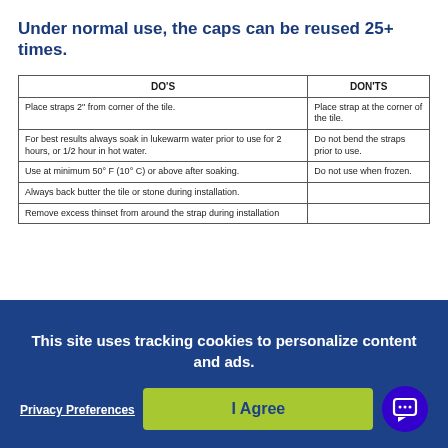Under normal use, the caps can be reused 25+ times.
| DO'S | DON'TS |
| --- | --- |
| Place straps 2" from corner of the tile. | Place strap at the corner of the tile. |
| For best results always soak in lukewarm water prior to use for 2 hours, or 1/2 hour in hot water. | Do not bend the straps prior to use. |
| Use at minimum 50° F (10° C) or above after soaking. | Do not use when frozen. |
| Always back butter the tile or stone during installation. |  |
| Remove excess thinset from around the strap during installation |  |
This site uses tracking cookies to personalize content and ads.
Privacy Preferences
I Agree